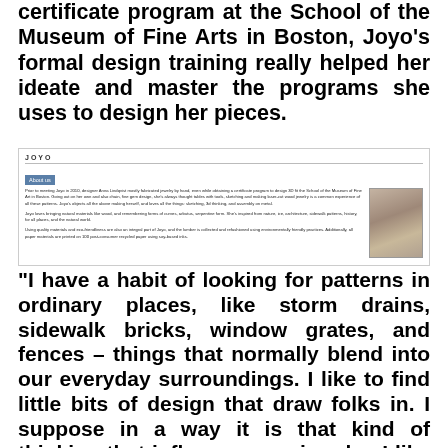certificate program at the School of the Museum of Fine Arts in Boston, Joyo's formal design training really helped her ideate and master the programs she uses to design her pieces.
[Figure (screenshot): Screenshot of the Joyo website 'About us' page showing a small photo of a woman and several paragraphs of bio text.]
“I have a habit of looking for patterns in ordinary places, like storm drains, sidewalk bricks, window grates, and fences – things that normally blend into our everyday surroundings. I like to find little bits of design that draw folks in. I suppose in a way it is that kind of thinking that influences my jewelry. I like to make pieces that encourage people to look more closely.”